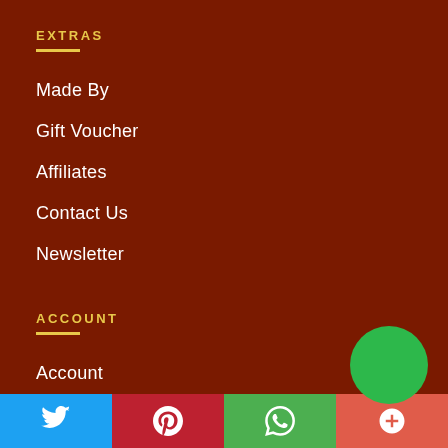EXTRAS
Made By
Gift Voucher
Affiliates
Contact Us
Newsletter
ACCOUNT
Account
Order History
Returns
[Figure (infographic): Social media sharing bar at the bottom with Twitter (blue), Pinterest (red), WhatsApp (green), and More (coral/orange-red) buttons, plus a green circle button overlay]